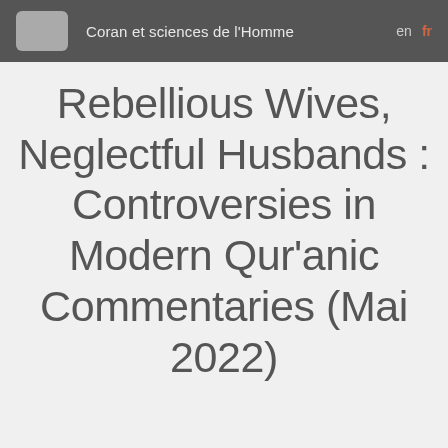Coran et sciences de l'Homme  en  fr
Rebellious Wives, Neglectful Husbands : Controversies in Modern Qur'anic Commentaries (Mai 2022)